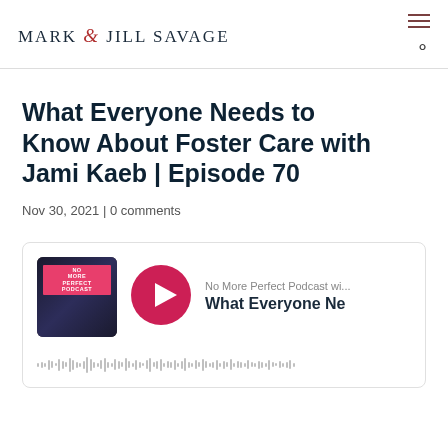MARK & JILL SAVAGE
What Everyone Needs to Know About Foster Care with Jami Kaeb | Episode 70
Nov 30, 2021 | 0 comments
[Figure (screenshot): Podcast player embed showing 'No More Perfect Podcast' with a thumbnail image of a woman smiling, a pink/red play button, and the episode title 'What Everyone Ne...' partially visible. A waveform audio scrubber is shown at the bottom.]